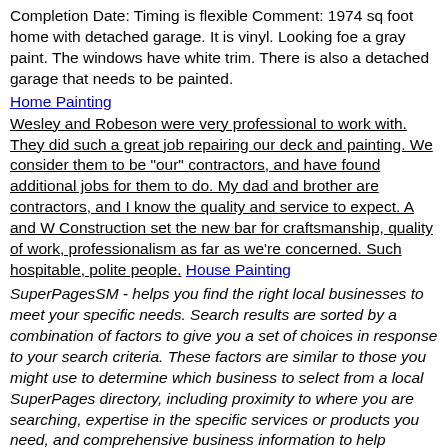Completion Date: Timing is flexible Comment: 1974 sq foot home with detached garage. It is vinyl. Looking foe a gray paint. The windows have white trim. There is also a detached garage that needs to be painted.
Home Painting
Wesley and Robeson were very professional to work with. They did such a great job repairing our deck and painting. We consider them to be "our" contractors, and have found additional jobs for them to do. My dad and brother are contractors, and I know the quality and service to expect. A and W Construction set the new bar for craftsmanship, quality of work, professionalism as far as we're concerned. Such hospitable, polite people. House Painting
SuperPagesSM - helps you find the right local businesses to meet your specific needs. Search results are sorted by a combination of factors to give you a set of choices in response to your search criteria. These factors are similar to those you might use to determine which business to select from a local SuperPages directory, including proximity to where you are searching, expertise in the specific services or products you need, and comprehensive business information to help evaluate a business's suitability for you. SuperPages advertisers receive higher placement in the default ordering of search results and may appear in sponsored listings on the top, side, or bottom of the search results page. House Painting CO